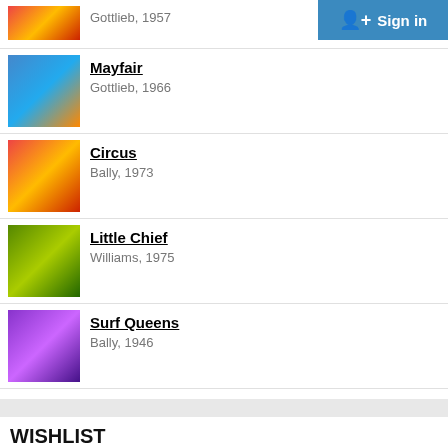Gottlieb, 1957
Mayfair
Gottlieb, 1966
Circus
Bally, 1973
Little Chief
Williams, 1975
Surf Queens
Bally, 1946
WISHLIST
RightNut has 371 machines on the wishlist.
Medusa
Bally, 1981
World Poker Tour
Stern, 2006